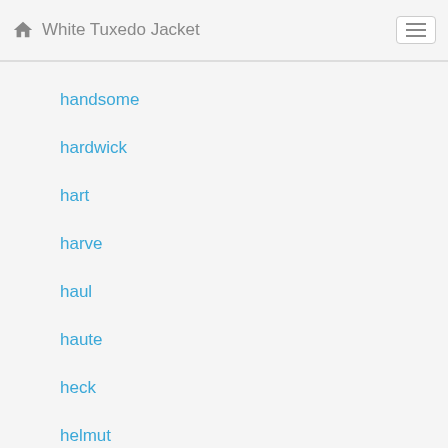White Tuxedo Jacket
handsome
hardwick
hart
harve
haul
haute
heck
helmut
helwig